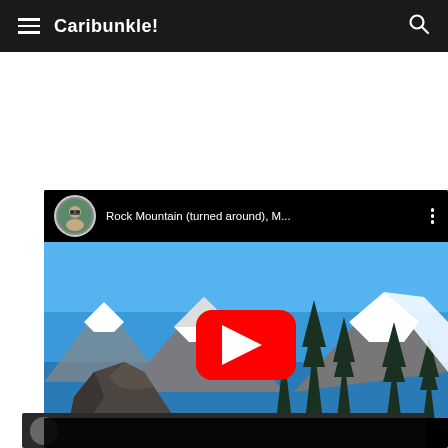Caribunkle!
[Figure (screenshot): YouTube video thumbnail showing a mountain scene with snow-capped peaks, rocky outcroppings, and tall evergreen trees under a bright blue sky. Video title reads 'Rock Mountain (turned around), M...' with a user avatar and YouTube play button overlay.]